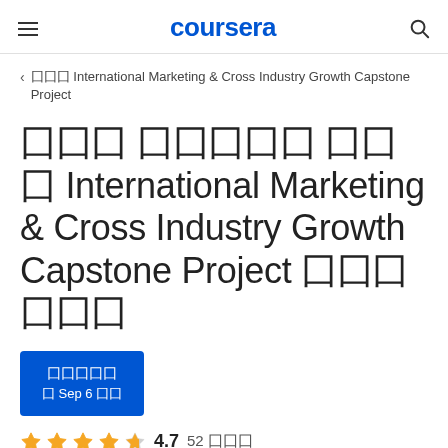coursera
囗囗囗 International Marketing & Cross Industry Growth Capstone Project
囗囗囗 囗囗囗囗囗 囗囗囗 International Marketing & Cross Industry Growth Capstone Project 囗囗囗囗囗囗
囗囗囗囗囗
囗 Sep 6 囗囗
4.7  52 囗囗囗